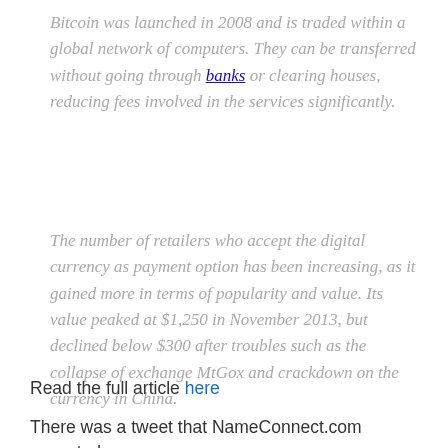Bitcoin was launched in 2008 and is traded within a global network of computers. They can be transferred without going through banks or clearing houses, reducing fees involved in the services significantly.
The number of retailers who accept the digital currency as payment option has been increasing, as it gained more in terms of popularity and value. Its value peaked at $1,250 in November 2013, but declined below $300 after troubles such as the collapse of exchange MtGox and crackdown on the currency in China.
Read the full article here
There was a tweet that NameConnect.com accepted